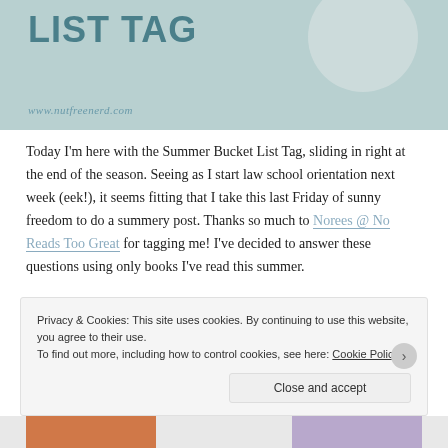[Figure (illustration): Blog post header image with teal/blue-gray background showing partial text 'BUCKET LIST TAG' in large teal font, with website URL 'www.nutfreenerd.com' in cursive below, and a decorative circular coffee cup shape on the right]
Today I'm here with the Summer Bucket List Tag, sliding in right at the end of the season. Seeing as I start law school orientation next week (eek!), it seems fitting that I take this last Friday of sunny freedom to do a summery post. Thanks so much to Norees @ No Reads Too Great for tagging me! I've decided to answer these questions using only books I've read this summer.
[Figure (illustration): Partial decorative script/cursive text element in teal color]
Privacy & Cookies: This site uses cookies. By continuing to use this website, you agree to their use. To find out more, including how to control cookies, see here: Cookie Policy
Close and accept